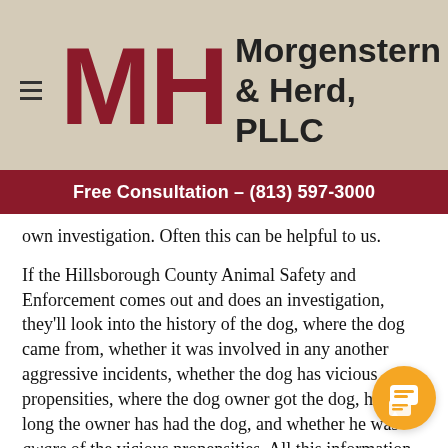[Figure (logo): Morgenstern & Herd, PLLC law firm logo with MH monogram in dark red on tan background]
Free Consultation – (813) 597-3000
own investigation. Often this can be helpful to us.
If the Hillsborough County Animal Safety and Enforcement comes out and does an investigation, they'll look into the history of the dog, where the dog came from, whether it was involved in any another aggressive incidents, whether the dog has vicious propensities, where the dog owner got the dog, how long the owner has had the dog, and whether he was aware of the vicious propensities. All this information is very valuable. So the Hillsborough County Animal Safety and Enforcement can be very helpful to Tampa dog bite attorneys in prosecuting your dog bite case.